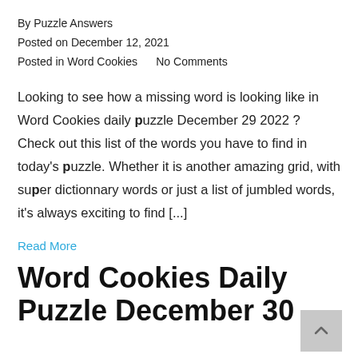By Puzzle Answers
Posted on December 12, 2021
Posted in Word Cookies    No Comments
Looking to see how a missing word is looking like in Word Cookies daily puzzle December 29 2022 ? Check out this list of the words you have to find in today's puzzle. Whether it is another amazing grid, with super dictionnary words or just a list of jumbled words, it's always exciting to find [...]
Read More
Word Cookies Daily Puzzle December 30